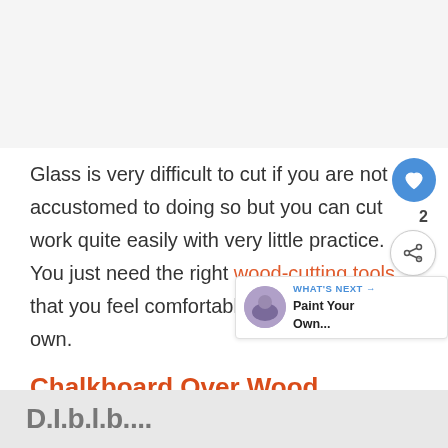[Figure (other): Gray placeholder area at top of page]
Glass is very difficult to cut if you are not accustomed to doing so but you can cut work quite easily with very little practice. You just need the right wood-cutting tools that you feel comfortable using on your own.
Chalkboard Over Wood